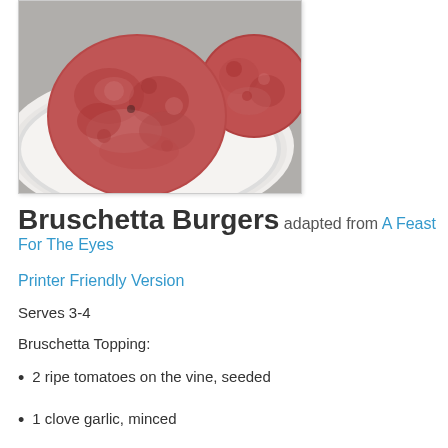[Figure (photo): Raw beef burger patties on a white plate, photographed from above on a gray counter surface. Two full patties visible in center and right, partially cropped.]
Bruschetta Burgers adapted from A Feast For The Eyes
Printer Friendly Version
Serves 3-4
Bruschetta Topping:
2 ripe tomatoes on the vine, seeded
1 clove garlic, minced